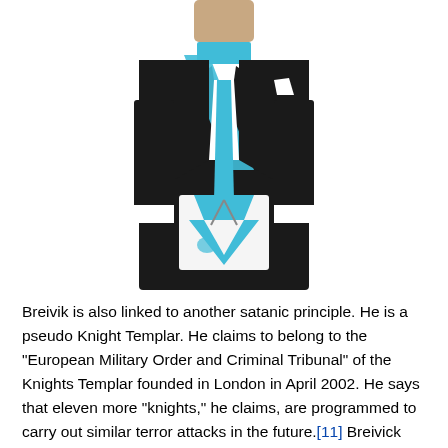[Figure (photo): A person wearing a formal black suit with a light blue/teal Masonic sash, apron, and regalia, photographed from roughly the neck down.]
Breivik is also linked to another satanic principle. He is a pseudo Knight Templar. He claims to belong to the “European Military Order and Criminal Tribunal” of the Knights Templar founded in London in April 2002. He says that eleven more “knights,” he claims, are programmed to carry out similar terror attacks in the future.[11] Breivick was/is a prominent member of yet another satanic